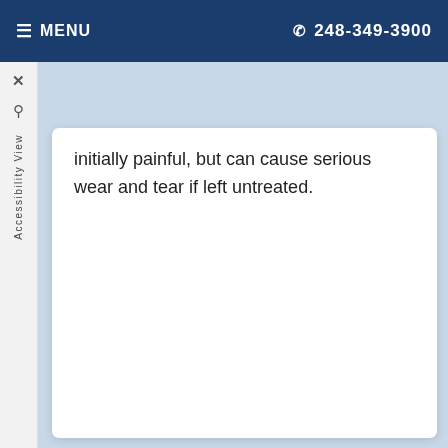≡ MENU   ☎ 248-349-3900
initially painful, but can cause serious wear and tear if left untreated.
Contact Us Today
Office Hours
Monday:
8:30 AM-5:00 pm